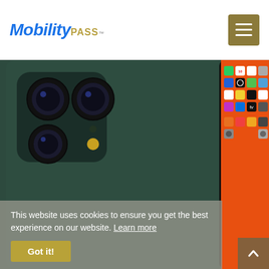MobilityPASS
[Figure (photo): Two iPhones shown side by side — one displaying the back with triple camera system in dark green, the other showing the home screen with app icons on an orange/red background including FaceTime, Calendar, Photos, Camera, Mail, Clock, Maps, Weather, Reminders, Notes, Stocks, News, Podcasts, App Store, Apple TV, and others.]
This website uses cookies to ensure you get the best experience on our website. Learn more
Got it!